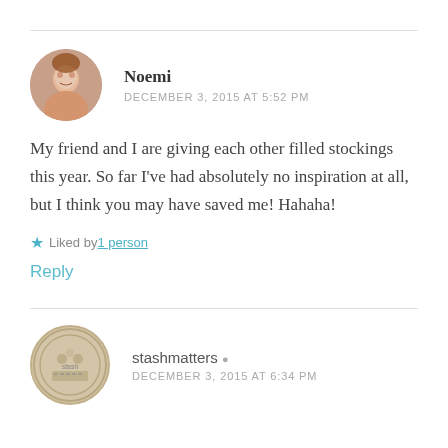Noemi
DECEMBER 3, 2015 AT 5:52 PM
My friend and I are giving each other filled stockings this year. So far I've had absolutely no inspiration at all, but I think you may have saved me! Hahaha!
Liked by 1 person
Reply
stashmatters
DECEMBER 3, 2015 AT 6:34 PM